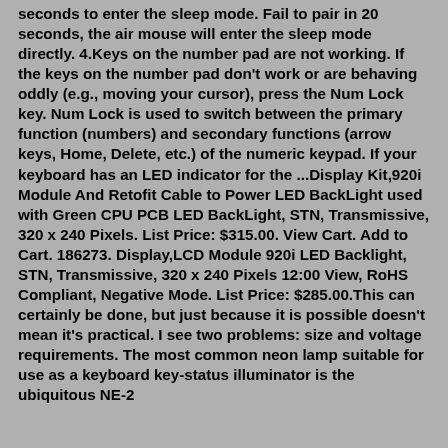seconds to enter the sleep mode. Fail to pair in 20 seconds, the air mouse will enter the sleep mode directly. 4.Keys on the number pad are not working. If the keys on the number pad don't work or are behaving oddly (e.g., moving your cursor), press the Num Lock key. Num Lock is used to switch between the primary function (numbers) and secondary functions (arrow keys, Home, Delete, etc.) of the numeric keypad. If your keyboard has an LED indicator for the ...Display Kit,920i Module And Retofit Cable to Power LED BackLight used with Green CPU PCB LED BackLight, STN, Transmissive, 320 x 240 Pixels. List Price: $315.00. View Cart. Add to Cart. 186273. Display,LCD Module 920i LED Backlight, STN, Transmissive, 320 x 240 Pixels 12:00 View, RoHS Compliant, Negative Mode. List Price: $285.00.This can certainly be done, but just because it is possible doesn't mean it's practical. I see two problems: size and voltage requirements. The most common neon lamp suitable for use as a keyboard key-status illuminator is the ubiquitous NE-2